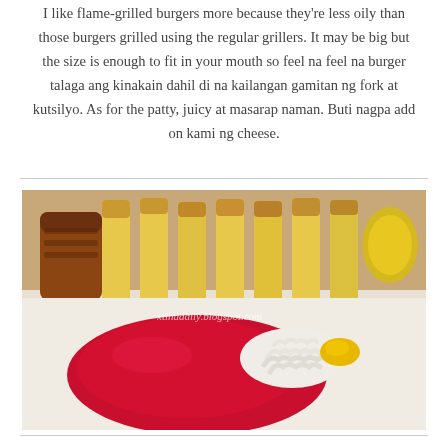I like flame-grilled burgers more because they're less oily than those burgers grilled using the regular grillers. It may be big but the size is enough to fit in your mouth so feel na feel na burger talaga ang kinakain dahil di na kailangan gamitan ng fork at kutsilyo. As for the patty, juicy at masarap naman. Buti nagpa add on kami ng cheese.
[Figure (photo): Close-up photo of french fries and condiments on a white plate: ketchup, macaroni salad, and mustard. Watermark reads xtinadaily.blogspot.com.]